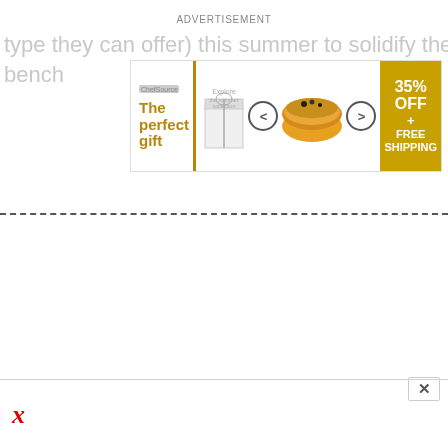type they can offer) this summer to solidify their bench
ADVERTISEMENT
[Figure (infographic): Advertisement banner for 'The perfect gift' featuring a logo, gift box image, navigation arrows, a bowl of food, and a yellow box reading '35% OFF + FREE SHIPPING']
X